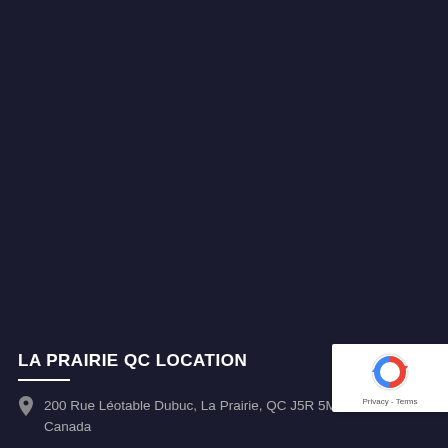[Figure (map): Dark map background showing La Prairie QC area, mostly dark/empty]
LA PRAIRIE QC LOCATION
200 Rue Léotable Dubuc, La Prairie, QC J5R 5M5
Canada
[Figure (logo): Google reCAPTCHA badge with Privacy and Terms links]